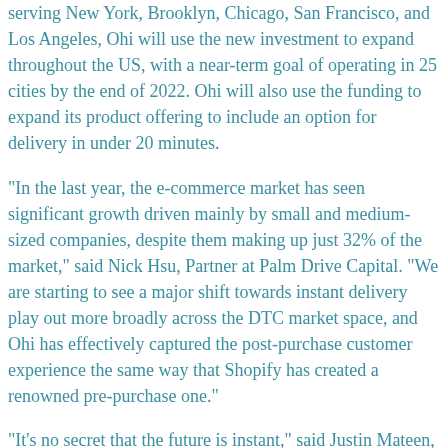serving New York, Brooklyn, Chicago, San Francisco, and Los Angeles, Ohi will use the new investment to expand throughout the US, with a near-term goal of operating in 25 cities by the end of 2022. Ohi will also use the funding to expand its product offering to include an option for delivery in under 20 minutes.
“In the last year, the e-commerce market has seen significant growth driven mainly by small and medium-sized companies, despite them making up just 32% of the market,” said Nick Hsu, Partner at Palm Drive Capital. “We are starting to see a major shift towards instant delivery play out more broadly across the DTC market space, and Ohi has effectively captured the post-purchase customer experience the same way that Shopify has created a renowned pre-purchase one.”
“It’s no secret that the future is instant,” said Justin Mateen, Principal at JAM Fund. “Ohi has the vision to completely